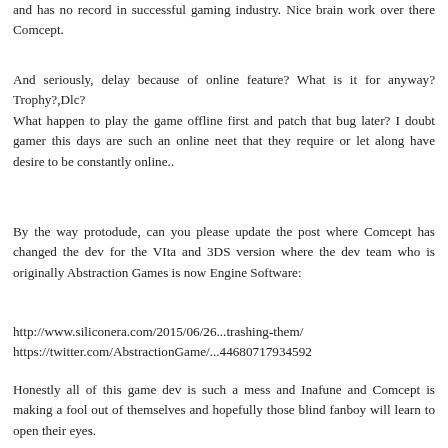and has no record in successful gaming industry. Nice brain work over there Comcept.
And seriously, delay because of online feature? What is it for anyway?Trophy?,Dlc?
What happen to play the game offline first and patch that bug later? I doubt gamer this days are such an online neet that they require or let along have desire to be constantly online..
By the way protodude, can you please update the post where Comcept has changed the dev for the VIta and 3DS version where the dev team who is originally Abstraction Games is now Engine Software:
http://www.siliconera.com/2015/06/26...trashing-them/
https://twitter.com/AbstractionGame/...44680717934592
Honestly all of this game dev is such a mess and Inafune and Comcept is making a fool out of themselves and hopefully those blind fanboy will learn to open their eyes.